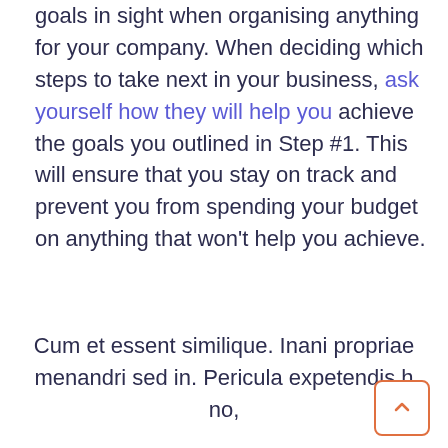goals in sight when organising anything for your company. When deciding which steps to take next in your business, ask yourself how they will help you achieve the goals you outlined in Step #1. This will ensure that you stay on track and prevent you from spending your budget on anything that won't help you achieve.
Cum et essent similique. Inani propriae menandri sed in. Pericula expetendis h no, quo populo forensibus contentiones et